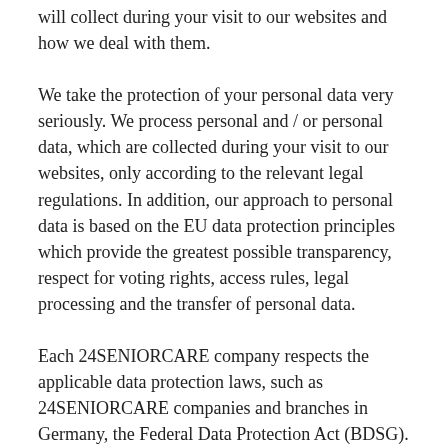will collect during your visit to our websites and how we deal with them.
We take the protection of your personal data very seriously. We process personal and / or personal data, which are collected during your visit to our websites, only according to the relevant legal regulations. In addition, our approach to personal data is based on the EU data protection principles which provide the greatest possible transparency, respect for voting rights, access rules, legal processing and the transfer of personal data.
Each 24SENIORCARE company respects the applicable data protection laws, such as 24SENIORCARE companies and branches in Germany, the Federal Data Protection Act (BDSG). In addition, the handling of personal data for all 24SENIORCARE companies within the Group is defined as the corporate guideline. This 24SENIORCARE Company Policy is intended to ensure that 24SENIORCARE companies that process personal data process your data properly.